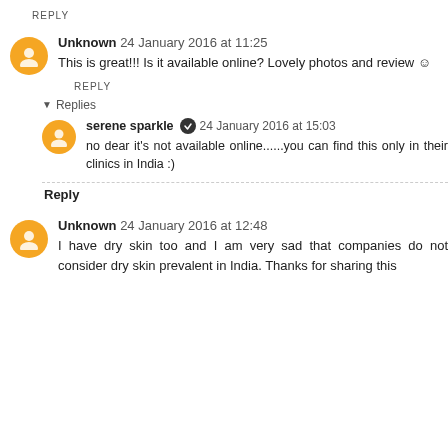REPLY
Unknown 24 January 2016 at 11:25
This is great!!! Is it available online? Lovely photos and review ☺
REPLY
▾ Replies
serene sparkle ✔ 24 January 2016 at 15:03
no dear it's not available online......you can find this only in their clinics in India :)
Reply
Unknown 24 January 2016 at 12:48
I have dry skin too and I am very sad that companies do not consider dry skin prevalent in India. Thanks for sharing this